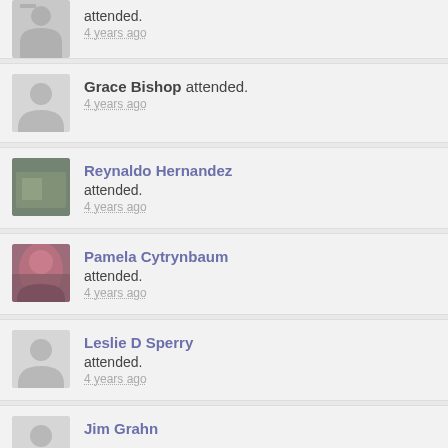attended. 4 years ago
Grace Bishop attended. 4 years ago
Reynaldo Hernandez attended. 4 years ago
Pamela Cytrynbaum attended. 4 years ago
Leslie D Sperry attended. 4 years ago
Jim Grahn